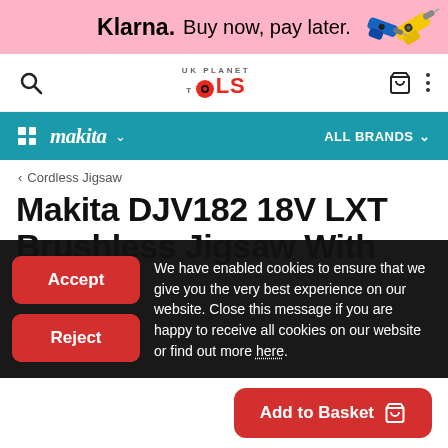Klarna. Buy now, pay later.
[Figure (screenshot): UK Planet Tools website navigation bar with search icon, logo, basket and menu icons]
[Figure (screenshot): Makita brand navigation bar with grid icon, Makita logo, dropdown chevron, and ALL BRANDS dropdown]
< Cordless Jigsaw
Makita DJV182 18V LXT Brushless Jigsaw With
We have enabled cookies to ensure that we give you the very best experience on our website. Close this message if you are happy to receive all cookies on our website or find out more here.
Accept
Reject
Add to Basket